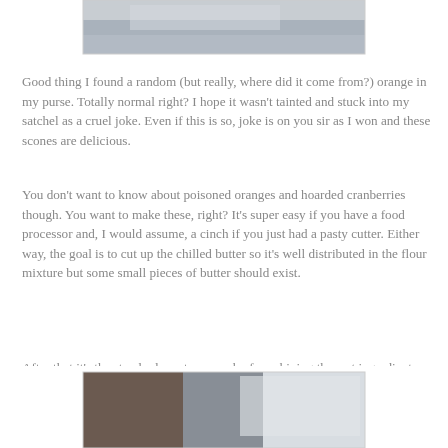[Figure (photo): Partial photo at top of page, blurred/cropped image appearing to show a light-colored subject on a white background, with a thin border frame]
Good thing I found a random (but really, where did it come from?) orange in my purse. Totally normal right? I hope it wasn't tainted and stuck into my satchel as a cruel joke. Even if this is so, joke is on you sir as I won and these scones are delicious.
You don't want to know about poisoned oranges and hoarded cranberries though. You want to make these, right? It's super easy if you have a food processor and, I would assume, a cinch if you just had a pasty cutter. Either way, the goal is to cut up the chilled butter so it's well distributed in the flour mixture but some small pieces of butter should exist.
After that it's the standard one two punch of combining the wet ingredients with the dry.
[Figure (photo): Partial photo at bottom of page, blurred image cropped showing dark and light tones, appears to be food preparation]